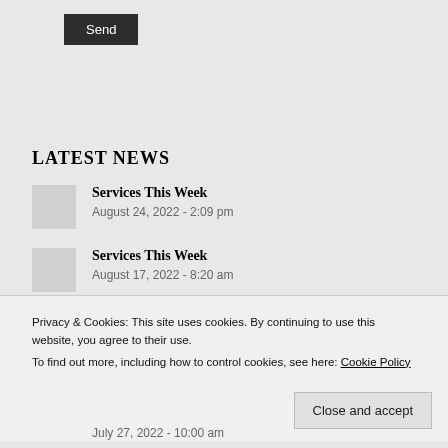Send
LATEST NEWS
Services This Week
August 24, 2022 - 2:09 pm
Services This Week
August 17, 2022 - 8:20 am
Privacy & Cookies: This site uses cookies. By continuing to use this website, you agree to their use.
To find out more, including how to control cookies, see here: Cookie Policy
Close and accept
July 27, 2022 - 10:00 am